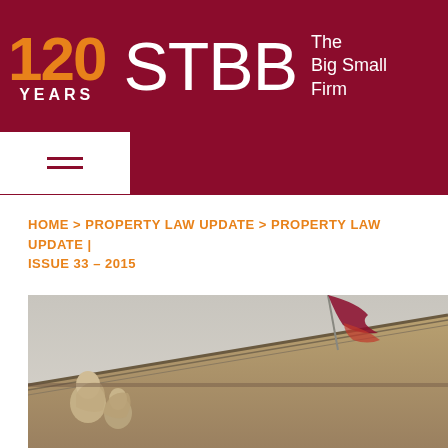[Figure (logo): STBB law firm header with dark red background. Orange '120 YEARS' logo on left, large white 'STBB' text in center, white tagline 'The Big Small Firm' on right.]
[Figure (other): Hamburger menu icon (three horizontal lines) in white box on dark red background]
HOME > PROPERTY LAW UPDATE > PROPERTY LAW UPDATE | ISSUE 33 – 2015
[Figure (photo): Sepia-toned photograph of a classical courthouse or government building pediment with sculptural figures and an American flag waving above]